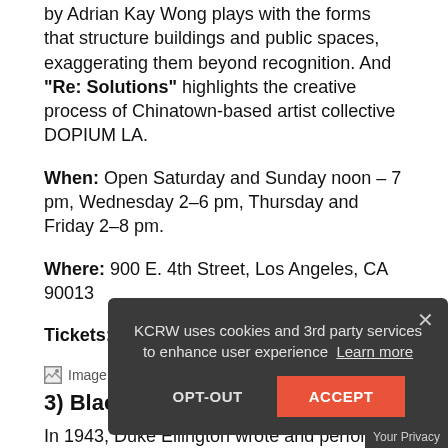by Adrian Kay Wong plays with the forms that structure buildings and public spaces, exaggerating them beyond recognition. And "Re: Solutions" highlights the creative process of Chinatown-based artist collective DOPIUM LA.
When: Open Saturday and Sunday noon – 7 pm, Wednesday 2–6 pm, Thursday and Friday 2–8 pm.
Where: 900 E. 4th Street, Los Angeles, CA 90013
Tickets: Suggested donation of $10
[Figure (photo): Image may contain: shoes]
3) Black, Brown, and Beige
In 1943, Duke Ellington wrote and performed Black, Brown, Beige at Carnegie Hall, calling it "a parallel to the history of the Negro in America." The title draws attention to the idea that although categorize…